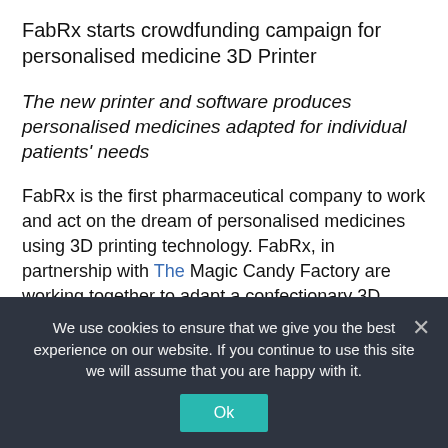FabRx starts crowdfunding campaign for personalised medicine 3D Printer
The new printer and software produces personalised medicines adapted for individual patients' needs
FabRx is the first pharmaceutical company to work and act on the dream of personalised medicines using 3D printing technology. FabRx, in partnership with The Magic Candy Factory are working together to adapt a confectionary 3D printer to prepare medicines that are ideal for children. FabRx announces the starting of a crowdfunding campaign to raise money and create
We use cookies to ensure that we give you the best experience on our website. If you continue to use this site we will assume that you are happy with it.